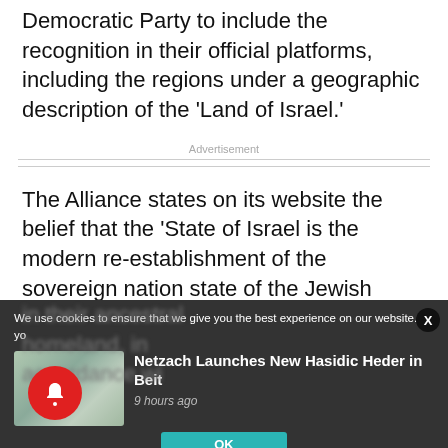Democratic Party to include the recognition in their official platforms, including the regions under a geographic description of the ‘Land of Israel.’
Advertisement
The Alliance states on its website the belief that the ‘State of Israel is the modern re-establishment of the sovereign nation state of the Jewish people
We use cookies to ensure that we give you the best experience on our website. If yo[u continue...]
[Figure (photo): Thumbnail image of children in a classroom setting]
Netzach Launches New Hasidic Heder in Beit
9 hours ago